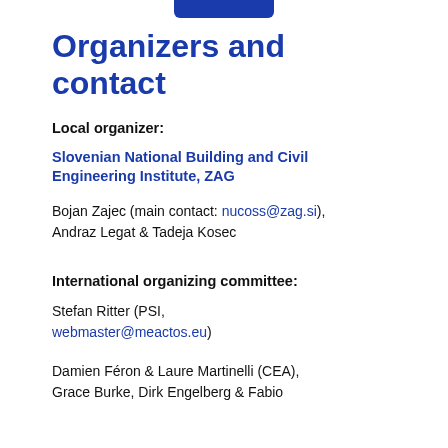Organizers and contact
Local organizer:
Slovenian National Building and Civil Engineering Institute, ZAG
Bojan Zajec (main contact: nucoss@zag.si), Andraz Legat & Tadeja Kosec
International organizing committee:
Stefan Ritter (PSI, webmaster@meactos.eu)
Damien Féron & Laure Martinelli (CEA), Grace Burke, Dirk Engelberg & Fabio